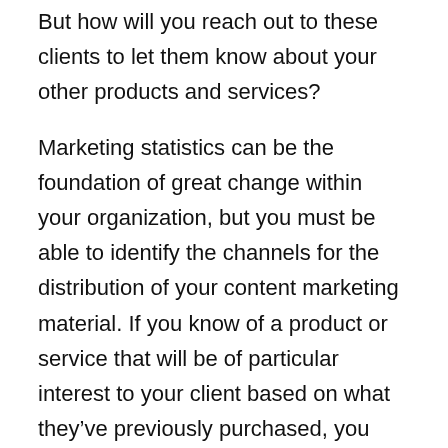But how will you reach out to these clients to let them know about your other products and services?
Marketing statistics can be the foundation of great change within your organization, but you must be able to identify the channels for the distribution of your content marketing material. If you know of a product or service that will be of particular interest to your client based on what they’ve previously purchased, you need to identify the right channel to communicate with them.
Most will answer that they will reach out to them through cost-effective channels, such as email or social media. However, the proactive approach works better, and there is no channel more proactive than telemarketing.